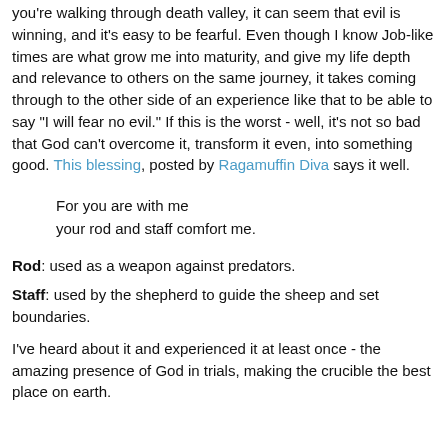you're walking through death valley, it can seem that evil is winning, and it's easy to be fearful. Even though I know Job-like times are what grow me into maturity, and give my life depth and relevance to others on the same journey, it takes coming through to the other side of an experience like that to be able to say "I will fear no evil." If this is the worst - well, it's not so bad that God can't overcome it, transform it even, into something good. This blessing, posted by Ragamuffin Diva says it well.
For you are with me
your rod and staff comfort me.
Rod: used as a weapon against predators.
Staff: used by the shepherd to guide the sheep and set boundaries.
I've heard about it and experienced it at least once - the amazing presence of God in trials, making the crucible the best place on earth.